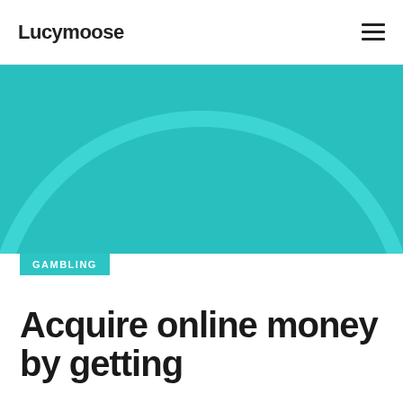Lucymoose
[Figure (illustration): Teal/turquoise background with a large light-teal circle outline centered in the upper portion of the image]
GAMBLING
Acquire online money by getting